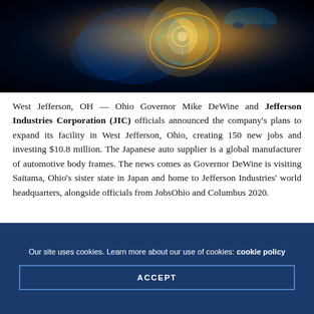[Figure (photo): Close-up photo of a glowing lightbulb concept with blue and golden/yellow neon lights against a dark black background, suggesting innovation or automotive technology.]
West Jefferson, OH — Ohio Governor Mike DeWine and Jefferson Industries Corporation (JIC) officials announced the company's plans to expand its facility in West Jefferson, Ohio, creating 150 new jobs and investing $10.8 million. The Japanese auto supplier is a global manufacturer of automotive body frames. The news comes as Governor DeWine is visiting Saitama, Ohio's sister state in Japan and home to Jefferson Industries' world headquarters, alongside officials from JobsOhio and Columbus 2020.
Our site uses cookies. Learn more about our use of cookies: cookie policy
ACCEPT